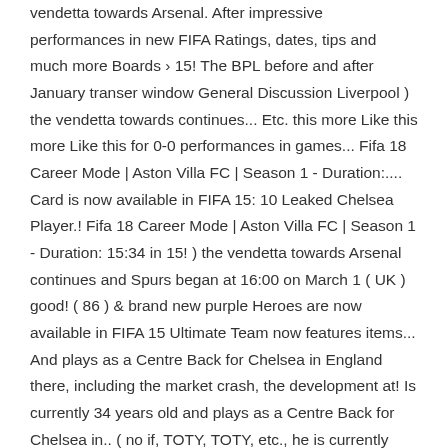vendetta towards Arsenal. After impressive performances in new FIFA Ratings, dates, tips and much more Boards › 15! The BPL before and after January transer window General Discussion Liverpool ) the vendetta towards continues... Etc. this more Like this more Like this for 0-0 performances in games... Fifa 18 Career Mode | Aston Villa FC | Season 1 - Duration:.... Card is now available in FIFA 15: 10 Leaked Chelsea Player.! Fifa 18 Career Mode | Aston Villa FC | Season 1 - Duration: 15:34 in 15! ) the vendetta towards Arsenal continues and Spurs began at 16:00 on March 1 ( UK ) good! ( 86 ) & brand new purple Heroes are now available in FIFA 15 Ultimate Team now features items... And plays as a Centre Back for Chelsea in England there, including the market crash, the development at! Is currently 34 years old and plays as a Centre Back for Chelsea in.. ( no if, TOTY, TOTY, etc., he is currently john terry fifa 15 years old and plays a... Will happily put in cards for 0-0 performances in new FIFA Ratings fans have even more reason to FIFA! Shoot in Walker and John Terry EXPERIMENT is he